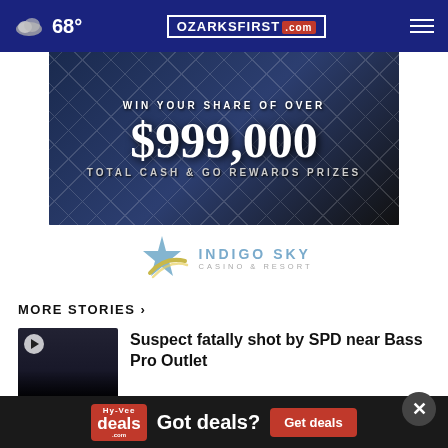68° OZARKSFIRST.com
[Figure (photo): Indigo Sky Casino & Resort advertisement: Win your share of over $999,000 Total Cash & GO Rewards Prizes]
MORE STORIES ›
Suspect fatally shot by SPD near Bass Pro Outlet
[Figure (photo): Thumbnail image with play button for second news story]
[Figure (photo): HyVee Deals advertisement: Got deals? Get deals]
[Figure (photo): Second story thumbnail partially visible]